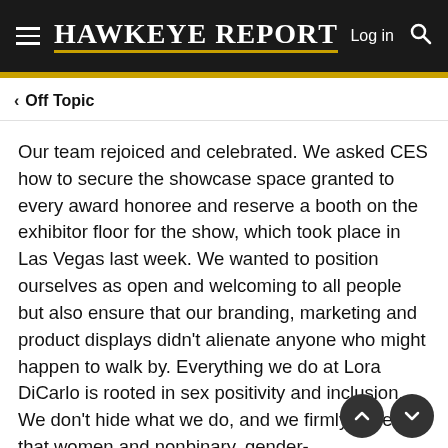Hawkeye Report — Log in
< Off Topic
Our team rejoiced and celebrated. We asked CES how to secure the showcase space granted to every award honoree and reserve a booth on the exhibitor floor for the show, which took place in Las Vegas last week. We wanted to position ourselves as open and welcoming to all people but also ensure that our branding, marketing and product displays didn't alienate anyone who might happen to walk by. Everything we do at Lora DiCarlo is rooted in sex positivity and inclusion. We don't hide what we do, and we firmly believe that women and nonbinary, gender-nonconforming and LGBTQIA folks should be vocally claiming our space in pleasure and technology — both of which are still heavily dominated by male executives. We also believe that society needs to drop the taboo around